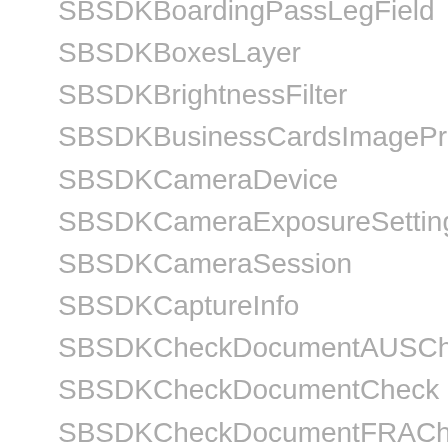SBSDKBoardingPassLegField
SBSDKBoxesLayer
SBSDKBrightnessFilter
SBSDKBusinessCardsImageProcessor
SBSDKCameraDevice
SBSDKCameraExposureSettings
SBSDKCameraSession
SBSDKCaptureInfo
SBSDKCheckDocumentAUSCheck
SBSDKCheckDocumentCheck
SBSDKCheckDocumentFRACheck
SBSDKCheckDocumentINDCheck
SBSDKCheckDocumentKWTCheck
SBSDKCheckDocumentRootType
SBSDKCheckDocumentUSACheck
SBSDKCheckRecognizer
SBSDKCheckRecognizerResult